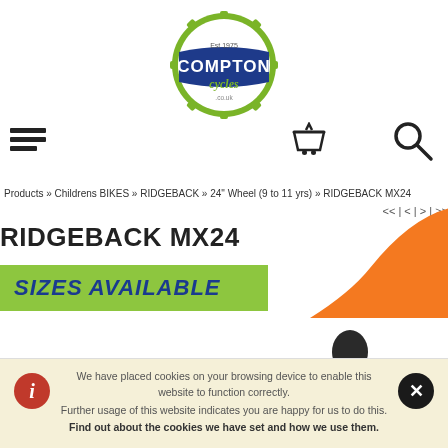[Figure (logo): Compton Cycles logo — circular badge, dark blue banner with white 'COMPTON' text, cursive 'cycles' below, 'Est 1975' and '.co.uk' text, green gear/cog border]
[Figure (illustration): Hamburger menu icon (three horizontal bars), basket/cart icon, and magnifying glass search icon in the navigation bar]
Products » Childrens BIKES » RIDGEBACK » 24" Wheel (9 to 11 yrs) » RIDGEBACK MX24
<< | < | > | >>
RIDGEBACK MX24
[Figure (illustration): Orange bicycle frame shape visible on the right side of the product area]
SIZES AVAILABLE
[Figure (photo): Partial photo of a bicycle showing the handlebar area with brake levers and cables, against a white background]
We have placed cookies on your browsing device to enable this website to function correctly.
Further usage of this website indicates you are happy for us to do this.
Find out about the cookies we have set and how we use them.